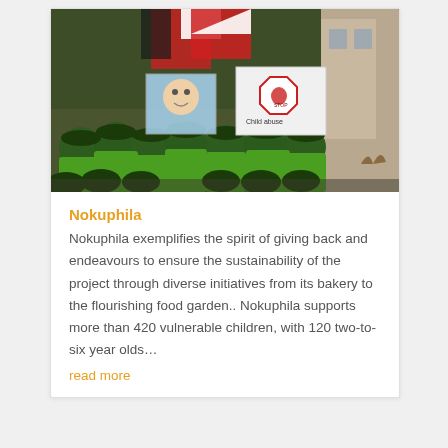[Figure (photo): Group of children in green school uniforms and hats gathered together, some holding protest signs including one that reads 'Stop Child Abuse' with a red hand symbol, and another with a cartoon child face. Flags visible in the background.]
Nokuphila
Nokuphila exemplifies the spirit of giving back and endeavours to ensure the sustainability of the project through diverse initiatives from its bakery to the flourishing food garden.. Nokuphila supports more than 420 vulnerable children, with 120 two-to-six year olds...
read more